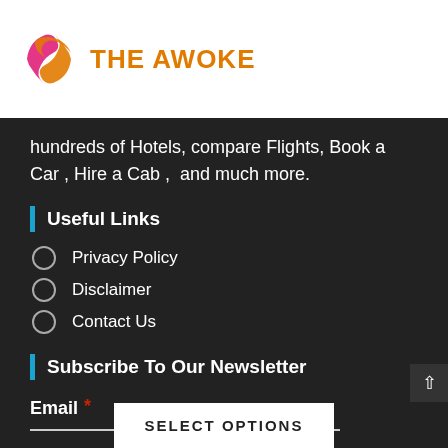[Figure (logo): The Awoke logo with circular arrow icon in orange and pink, and brand name 'The Awoke' in orange uppercase text]
hundreds of Hotels, compare Flights, Book a Car , Hire a Cab ,  and much more.
Useful Links
Privacy Policy
Disclaimer
Contact Us
Subscribe To Our Newsletter
Email *
SELECT OPTIONS